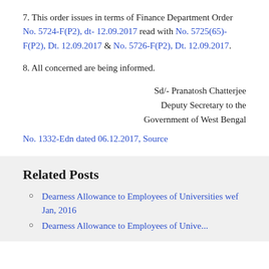7. This order issues in terms of Finance Department Order No. 5724-F(P2), dt- 12.09.2017 read with No. 5725(65)-F(P2), Dt. 12.09.2017 & No. 5726-F(P2), Dt. 12.09.2017.
8. All concerned are being informed.
Sd/- Pranatosh Chatterjee
Deputy Secretary to the
Government of West Bengal
No. 1332-Edn dated 06.12.2017, Source
Related Posts
Dearness Allowance to Employees of Universities wef Jan, 2016